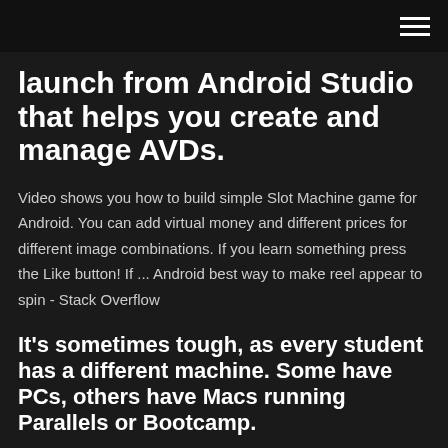launch from Android Studio that helps you create and manage AVDs.
Video shows you how to build simple Slot Machine game for Android. You can add virtual money and different prices for different image combinations. If you learn something press the Like button! If ... Android best way to make reel appear to spin - Stack Overflow
It's sometimes tough, as every student has a different machine. Some have PCs, others have Macs running Parallels or Bootcamp.